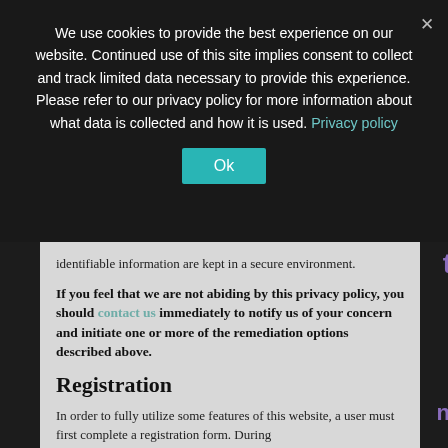We use cookies to provide the best experience on our website. Continued use of this site implies consent to collect and track limited data necessary to provide this experience. Please refer to our privacy policy for more information about what data is collected and how it is used. Privacy policy
Ok
identifiable information are kept in a secure environment.
If you feel that we are not abiding by this privacy policy, you should contact us immediately to notify us of your concern and initiate one or more of the remediation options described above.
Registration
In order to fully utilize some features of this website, a user must first complete a registration form. During